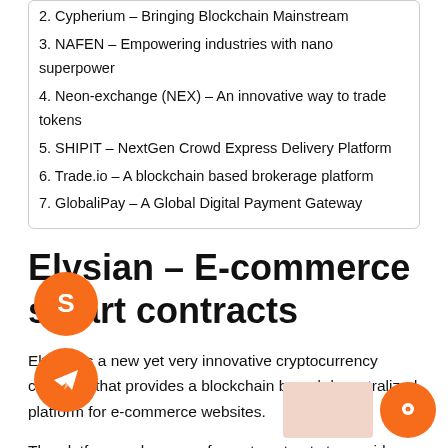2. Cypherium – Bringing Blockchain Mainstream
3. NAFEN – Empowering industries with nano superpower
4. Neon-exchange (NEX) – An innovative way to trade tokens
5. SHIPIT – NextGen Crowd Express Delivery Platform
6. Trade.io – A blockchain based brokerage platform
7. GlobaliPay – A Global Digital Payment Gateway
Elysian – E-commerce smart contracts
Elysian is a new yet very innovative cryptocurrency company that provides a blockchain based decentralized platform for e-commerce websites.
The platform makes use of smart contracts to provide a secure way for developers (and even non-developers) to create awesome, feature-rich e-commerce websites in no ti…
[Figure (illustration): Orange circular Skype icon button on the left side of the page]
[Figure (illustration): Orange circular Telegram send icon button on the left side of the page]
[Figure (illustration): Orange circular chat/contact icon button at bottom right]
[Figure (photo): Light peach/pink colored rectangular image placeholder at bottom right]